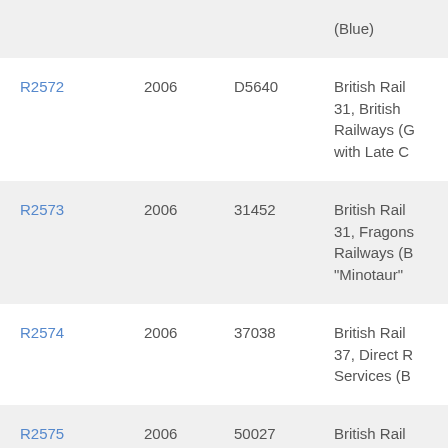| Code | Year | Number | Description |
| --- | --- | --- | --- |
|  |  |  | (Blue) |
| R2572 | 2006 | D5640 | British Rail 31, British Railways (G with Late C |
| R2573 | 2006 | 31452 | British Rail 31, Fragonset Railways (B "Minotaur" |
| R2574 | 2006 | 37038 | British Rail 37, Direct R Services (B |
| R2575 | 2006 | 50027 | British Rail 50, British R Network |